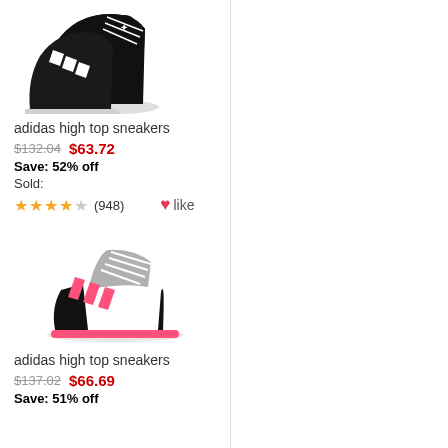[Figure (photo): Black Adidas high top sneakers with white three stripes and trefoil logo]
adidas high top sneakers
$132.04  $63.72
Save: 52% off
Sold:
★★★★☆ (948)  ♥like
[Figure (photo): White and black Adidas high top sneakers with pink three stripes]
adidas high top sneakers
$137.02  $66.69
Save: 51% off